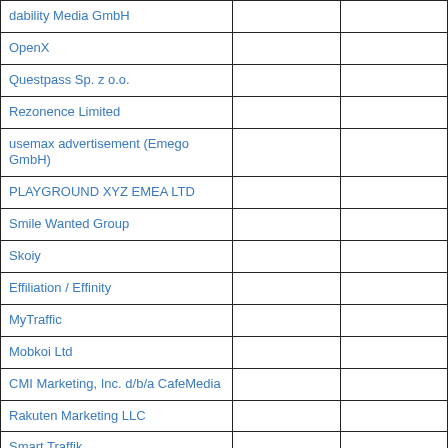| dability Media GmbH |  |  |
| OpenX |  |  |
| Questpass Sp. z o.o. |  |  |
| Rezonence Limited |  |  |
| usemax advertisement (Emego GmbH) |  |  |
| PLAYGROUND XYZ EMEA LTD |  |  |
| Smile Wanted Group |  |  |
| Skoiy |  |  |
| Effiliation / Effinity |  |  |
| MyTraffic |  |  |
| Mobkoi Ltd |  |  |
| CMI Marketing, Inc. d/b/a CafeMedia |  |  |
| Rakuten Marketing LLC |  |  |
| Smart Traffik |  |  |
| GeoEdge |  |  |
| Nexx360 |  |  |
| Revcontent, LLC |  |  |
| Appush Technologies |  |  |
| communicationAds GmbH & Co. KG |  |  |